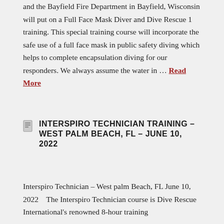and the Bayfield Fire Department in Bayfield, Wisconsin will put on a Full Face Mask Diver and Dive Rescue 1 training. This special training course will incorporate the safe use of a full face mask in public safety diving which helps to complete encapsulation diving for our responders. We always assume the water in … Read More
INTERSPIRO TECHNICIAN TRAINING – WEST PALM BEACH, FL – JUNE 10, 2022
Interspiro Technician – West palm Beach, FL June 10, 2022   The Interspiro Technician course is Dive Rescue International's renowned 8-hour training